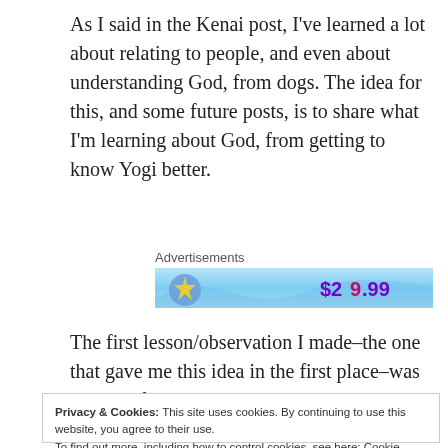As I said in the Kenai post, I've learned a lot about relating to people, and even about understanding God, from dogs.  The idea for this, and some future posts, is to share what I'm learning about God, from getting to know Yogi better.
Advertisements
[Figure (screenshot): Advertisement banner showing a partial image with stars and '$29.99' price text on a blue gradient background]
The first lesson/observation I made–the one that gave me this idea in the first place–was shortly after Yogi came to live with us.  Yogi is VERY food-
Privacy & Cookies: This site uses cookies. By continuing to use this website, you agree to their use.
To find out more, including how to control cookies, see here: Cookie Policy
Close and accept
commands without knowing there's a treat